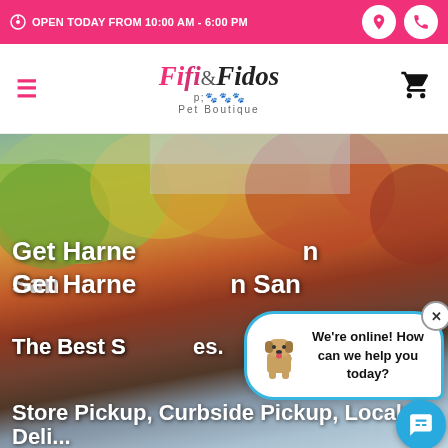OPEN TODAY FROM 10:00 AM - 6:00 PM
[Figure (logo): Fifi & Fidos Pet Boutique logo with pink italic text and paw print decorations]
[Figure (photo): Blurred outdoor autumn scene with colorful foliage, used as hero banner background with a dog partially visible]
Get Harne... n San
The Best S... es. Store Pickup, Curbside Pickup, Local Deli...
[Figure (screenshot): Chat popup widget showing a pixel-art dog icon and text 'We're online! How can we help you today?' with a close X button and blue speech bubble tail, with blue circular chat launcher button]